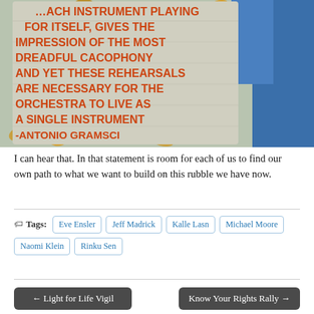[Figure (photo): Wooden sign with orange painted text reading: 'each instrument playing for itself, gives the impression of the most dreadful cacophony and yet these rehearsals are necessary for the orchestra to live as a single instrument – Antonio Gramsci', surrounded by autumn leaves and blue fabric.]
I can hear that. In that statement is room for each of us to find our own path to what we want to build on this rubble we have now.
Tags: Eve Ensler, Jeff Madrick, Kalle Lasn, Michael Moore, Naomi Klein, Rinku Sen
← Light for Life Vigil    Know Your Rights Rally →